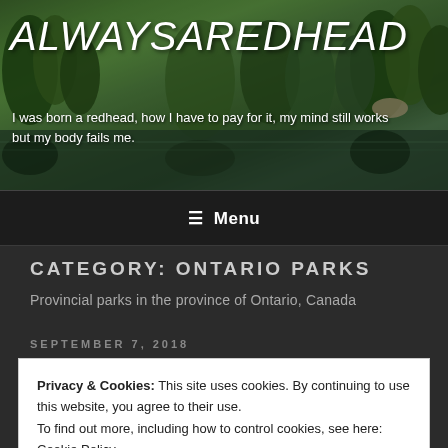[Figure (photo): Nature/landscape banner photo showing trees reflected in a lake or river in Ontario, Canada]
ALWAYSAREDHEAD
I was born a redhead, how I have to pay for it, my mind still works but my body fails me.
≡  Menu
CATEGORY: ONTARIO PARKS
Provincial parks in the province of Ontario, Canada
SEPTEMBER 7, 2018
Privacy & Cookies: This site uses cookies. By continuing to use this website, you agree to their use.
To find out more, including how to control cookies, see here: Cookie Policy
Close and accept